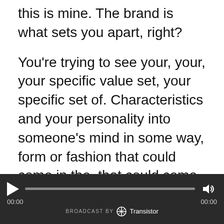this is mine. The brand is what sets you apart, right?
You're trying to see your, your, your specific value set, your specific set of. Characteristics and your personality into someone's mind in some way, form or fashion that could come in the, that could come into your clothing. What you say, how you talk, you know dentistry is not a part of my brand at all.
I've never even said the word dentistry online ever. It's the first [00:06:00] time that is not a part of my brand art video games. Those are
[Figure (other): Audio player bar with play button, progress bar, volume icon, timestamps 00:00 on both sides, and 'BROADCAST BY Transistor' branding on a dark background.]